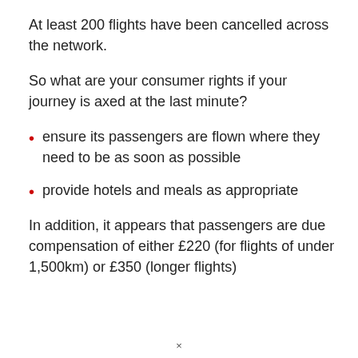At least 200 flights have been cancelled across the network.
So what are your consumer rights if your journey is axed at the last minute?
ensure its passengers are flown where they need to be as soon as possible
provide hotels and meals as appropriate
In addition, it appears that passengers are due compensation of either £220 (for flights of under 1,500km) or £350 (longer flights)